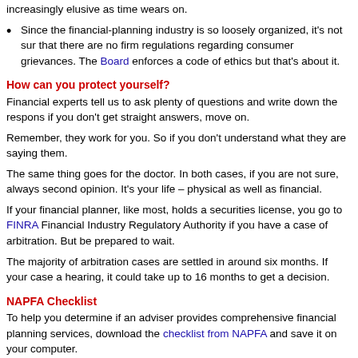increasingly elusive as time wears on.
Since the financial-planning industry is so loosely organized, it's not sur that there are no firm regulations regarding consumer grievances. The Board enforces a code of ethics but that's about it.
How can you protect yourself?
Financial experts tell us to ask plenty of questions and write down the respons if you don't get straight answers, move on.
Remember, they work for you. So if you don't understand what they are saying them.
The same thing goes for the doctor. In both cases, if you are not sure, always second opinion. It's your life – physical as well as financial.
If your financial planner, like most, holds a securities license, you go to FINRA Financial Industry Regulatory Authority if you have a case of arbitration. But be prepared to wait.
The majority of arbitration cases are settled in around six months. If your case a hearing, it could take up to 16 months to get a decision.
NAPFA Checklist
To help you determine if an adviser provides comprehensive financial planning services, download the checklist from NAPFA and save it on your computer.
It's in MS Word doc format. If you do not have MS Word on your computer, you download a free copy of the Open Office application. Run the word processor office package and then open the NAPFA checklist in the word processor and